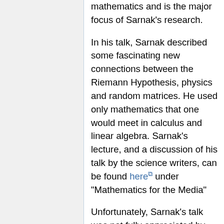mathematics and is the major focus of Sarnak's research.
In his talk, Sarnak described some fascinating new connections between the Riemann Hypothesis, physics and random matrices. He used only mathematics that one would meet in calculus and linear algebra. Sarnak's lecture, and a discussion of his talk by the science writers, can be found here under "Mathematics for the Media"
Unfortunately, Sarnak's talk was not fully appreciated by the science writers. The first writer to comment said that she felt like she did when she was in Germany and a friend took her to a party. At the party the Germans initially tried to speak to her in English, and she could understand them pretty well, but then they would drift into German and she